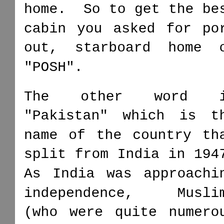home.  So to get the best cabin you asked for port out, starboard home or "POSH".
The other word is "Pakistan" which is the name of the country that split from India in 1947. As India was approaching independence, Muslims (who were quite numerous all over in India but particularly in the northwest and the far east) proposed the new states formed form the old British Empire in India include a Muslim state. They were seeking a state made up of the